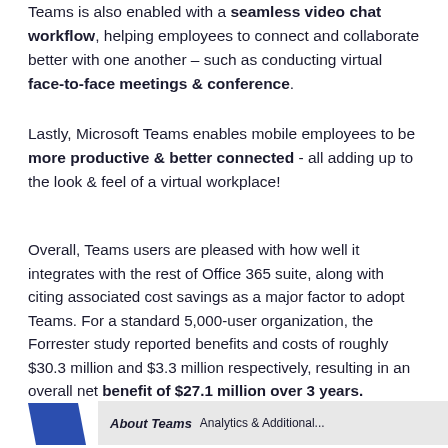Teams is also enabled with a seamless video chat workflow, helping employees to connect and collaborate better with one another – such as conducting virtual face-to-face meetings & conference.
Lastly, Microsoft Teams enables mobile employees to be more productive & better connected - all adding up to the look & feel of a virtual workplace!
Overall, Teams users are pleased with how well it integrates with the rest of Office 365 suite, along with citing associated cost savings as a major factor to adopt Teams. For a standard 5,000-user organization, the Forrester study reported benefits and costs of roughly $30.3 million and $3.3 million respectively, resulting in an overall net benefit of $27.1 million over 3 years.
[Figure (other): Bottom strip with a blue trapezoid/folder icon on the left and a gray band with text on the right]